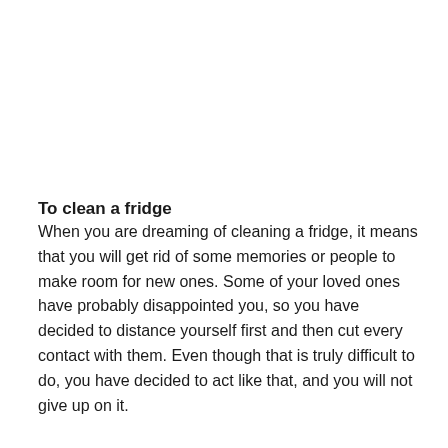To clean a fridge
When you are dreaming of cleaning a fridge, it means that you will get rid of some memories or people to make room for new ones. Some of your loved ones have probably disappointed you, so you have decided to distance yourself first and then cut every contact with them. Even though that is truly difficult to do, you have decided to act like that, and you will not give up on it.